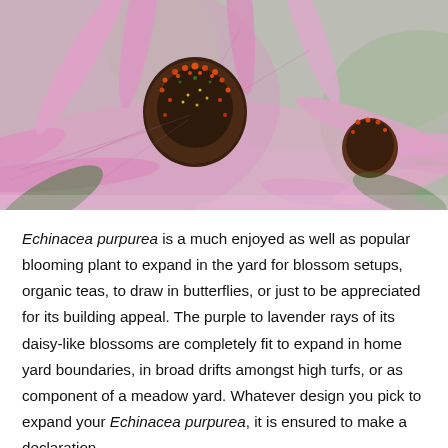[Figure (photo): Close-up photograph of Echinacea purpurea (purple coneflower) blooms with pink/lavender petals and prominent dark orange-brown spiky central cones, with a blurred green background.]
Echinacea purpurea is a much enjoyed as well as popular blooming plant to expand in the yard for blossom setups, organic teas, to draw in butterflies, or just to be appreciated for its building appeal. The purple to lavender rays of its daisy-like blossoms are completely fit to expand in home yard boundaries, in broad drifts amongst high turfs, or as component of a meadow yard. Whatever design you pick to expand your Echinacea purpurea, it is ensured to make a declaration.